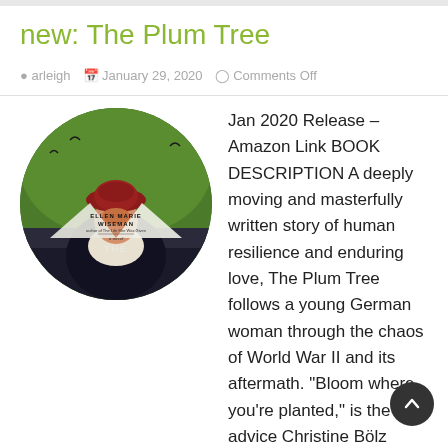new: The Plum Tree
arleigh   January 29, 2020   Comments Off
[Figure (illustration): Circular book cover image for 'The Plum Tree' by Ellen Marie Wiseman. Shows a woman from behind wearing a red hat and dark clothing, with birds in a green sky background. Text reads 'ELLEN MARIE WISEMAN', 'author of The Life She Was Given', 'a novel', 'THE']
Jan 2020 Release – Amazon Link BOOK DESCRIPTION A deeply moving and masterfully written story of human resilience and enduring love, The Plum Tree follows a young German woman through the chaos of World War II and its aftermath. "Bloom where you're planted," is the advice Christine Bölz receiv from her beloved Oma. But seventeen-year-old